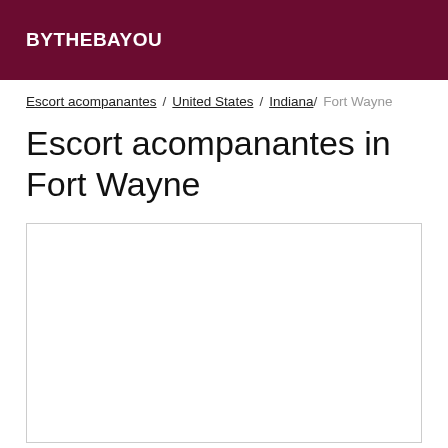BYTHEBAYOU
Escort acompanantes / United States / Indiana / Fort Wayne
Escort acompanantes in Fort Wayne
[Figure (other): Empty white content box with border]